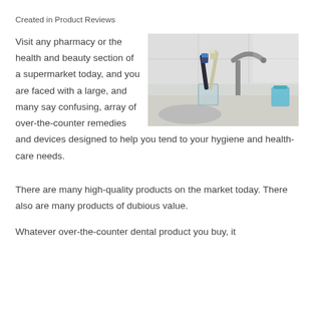Created in Product Reviews
[Figure (photo): Two toothbrushes in a glass cup on a bathroom sink counter, with a faucet and blue container visible in the background.]
Visit any pharmacy or the health and beauty section of a supermarket today, and you are faced with a large, and many say confusing, array of over-the-counter remedies and devices designed to help you tend to your hygiene and health-care needs.
There are many high-quality products on the market today. There also are many products of dubious value.
Whatever over-the-counter dental product you buy, it